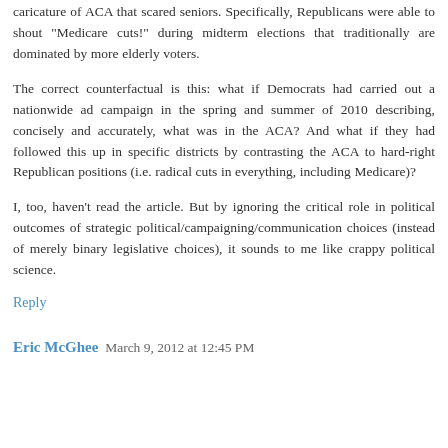caricature of ACA that scared seniors. Specifically, Republicans were able to shout "Medicare cuts!" during midterm elections that traditionally are dominated by more elderly voters.
The correct counterfactual is this: what if Democrats had carried out a nationwide ad campaign in the spring and summer of 2010 describing, concisely and accurately, what was in the ACA? And what if they had followed this up in specific districts by contrasting the ACA to hard-right Republican positions (i.e. radical cuts in everything, including Medicare)?
I, too, haven't read the article. But by ignoring the critical role in political outcomes of strategic political/campaigning/communication choices (instead of merely binary legislative choices), it sounds to me like crappy political science.
Reply
Eric McGhee  March 9, 2012 at 12:45 PM